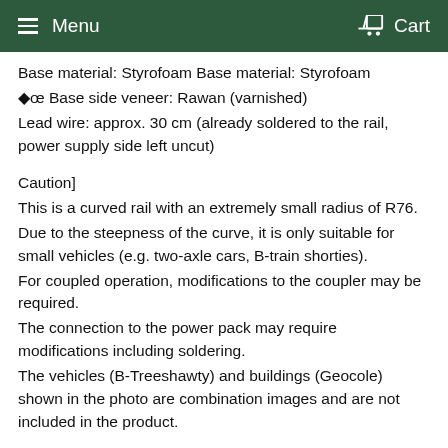Menu   Cart
Base material: Styrofoam Base material: Styrofoam
◆œ Base side veneer: Rawan (varnished)
Lead wire: approx. 30 cm (already soldered to the rail, power supply side left uncut)
Caution]
This is a curved rail with an extremely small radius of R76.
Due to the steepness of the curve, it is only suitable for small vehicles (e.g. two-axle cars, B-train shorties).
For coupled operation, modifications to the coupler may be required.
The connection to the power pack may require modifications including soldering.
The vehicles (B-Treeshawty) and buildings (Geocole) shown in the photo are combination images and are not included in the product.
Information edit: Sakatsu Gallery